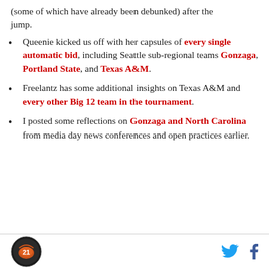(some of which have already been debunked) after the jump.
Queenie kicked us off with her capsules of every single automatic bid, including Seattle sub-regional teams Gonzaga, Portland State, and Texas A&M.
Freelantz has some additional insights on Texas A&M and every other Big 12 team in the tournament.
I posted some reflections on Gonzaga and North Carolina from media day news conferences and open practices earlier.
Footer with logo and social media icons